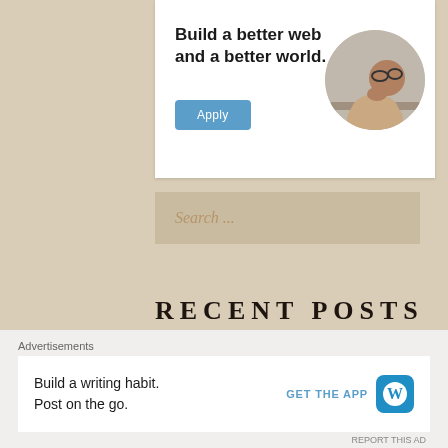[Figure (illustration): Advertisement banner with bold text 'Build a better web and a better world.' with a blue Apply button and a circular photo of a man thinking at a desk]
Search ...
RECENT POSTS
Advertisements
[Figure (illustration): Bottom advertisement for WordPress app: 'Build a writing habit. Post on the go.' with GET THE APP link and WordPress logo]
REPORT THIS AD